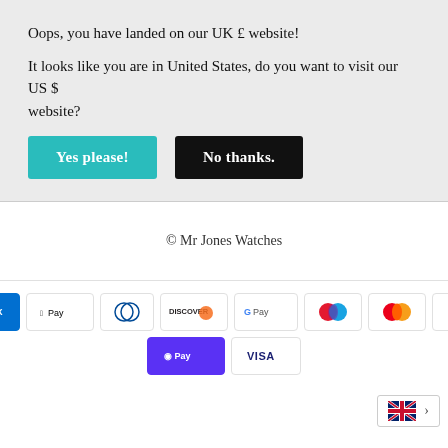Oops, you have landed on our UK £ website!
It looks like you are in United States, do you want to visit our US $ website?
[Figure (other): Two buttons: 'Yes please!' (teal/cyan background) and 'No thanks.' (black background)]
© Mr Jones Watches
[Figure (other): Payment method icons: American Express (AMEX), Apple Pay, Diners Club, Discover, Google Pay, Maestro, Mastercard, PayPal, Shop Pay, Visa]
[Figure (other): UK flag icon with chevron arrow indicating language/region selector]